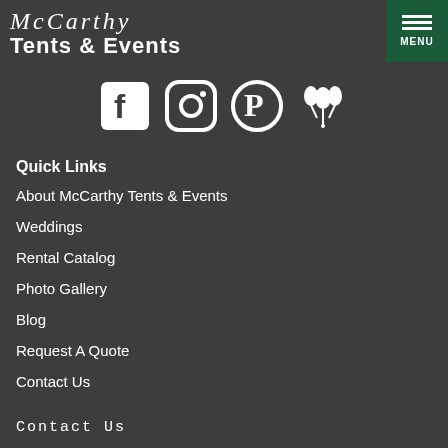[Figure (logo): McCarthy Tents & Events logo — stylized script text above 'Tents & Events' in white on dark background]
[Figure (infographic): Row of four social media icons: Facebook, Instagram, Pinterest, and a balloon/event icon, all white outlines on dark background]
Quick Links
About McCarthy Tents & Events
Weddings
Rental Catalog
Photo Gallery
Blog
Request A Quote
Contact Us
Contact Us